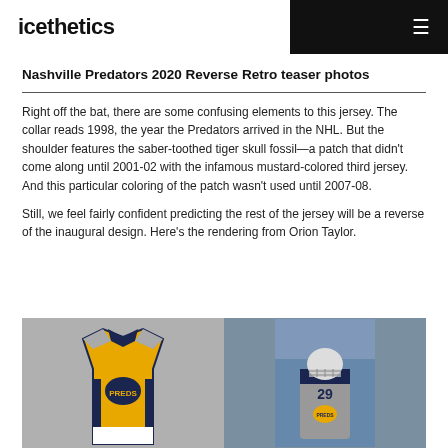icethetics
Nashville Predators 2020 Reverse Retro teaser photos
Right off the bat, there are some confusing elements to this jersey. The collar reads 1998, the year the Predators arrived in the NHL. But the shoulder features the saber-toothed tiger skull fossil—a patch that didn't come along until 2001-02 with the infamous mustard-colored third jersey. And this particular coloring of the patch wasn't used until 2007-08.
Still, we feel fairly confident predicting the rest of the jersey will be a reverse of the inaugural design. Here's the rendering from Orion Taylor.
[Figure (photo): Two photos side by side: left shows a Nashville Predators gold/yellow Reverse Retro jersey rendering with navy and gray accents; right shows a goalie wearing a gray Nashville Predators jersey on the ice.]